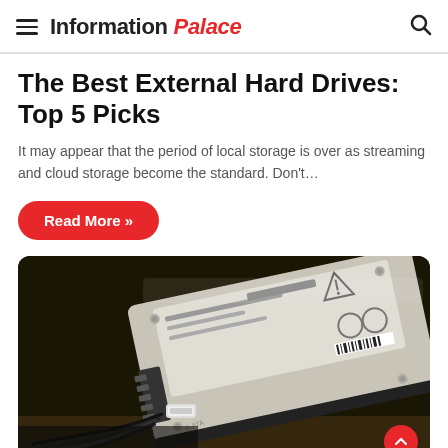Information Palace
The Best External Hard Drives: Top 5 Picks
It may appear that the period of local storage is over as streaming and cloud storage become the standard. Don't…
Read More »
[Figure (photo): Close-up photograph of a hard disk drive with SATA data and power cables connected, on a dark background. The drive has a white label with text 'Internal Use' and warning symbols visible.]